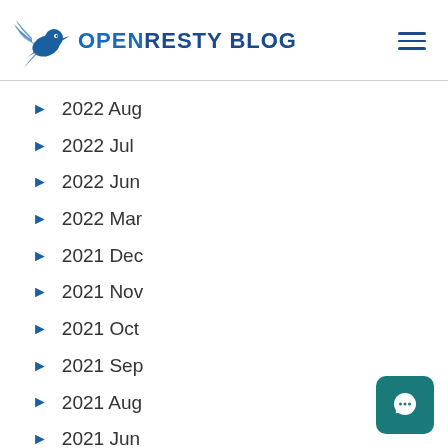OpenResty Blog
2022 Aug
2022 Jul
2022 Jun
2022 Mar
2021 Dec
2021 Nov
2021 Oct
2021 Sep
2021 Aug
2021 Jun
2021 May